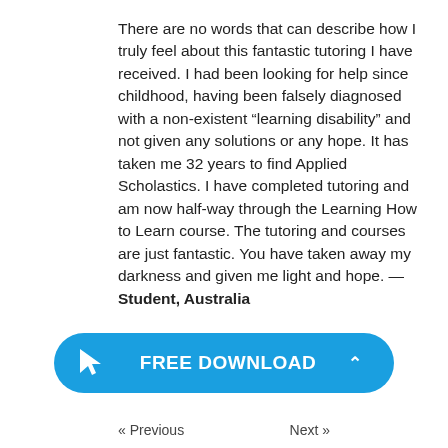There are no words that can describe how I truly feel about this fantastic tutoring I have received. I had been looking for help since childhood, having been falsely diagnosed with a non-existent “learning disability” and not given any solutions or any hope. It has taken me 32 years to find Applied Scholastics. I have completed tutoring and am now half-way through the Learning How to Learn course. The tutoring and courses are just fantastic. You have taken away my darkness and given me light and hope. — Student, Australia
[Figure (other): Blue rounded-rectangle button with cursor/arrow icon, text FREE DOWNLOAD, and an up-caret symbol]
« Previous    Next »